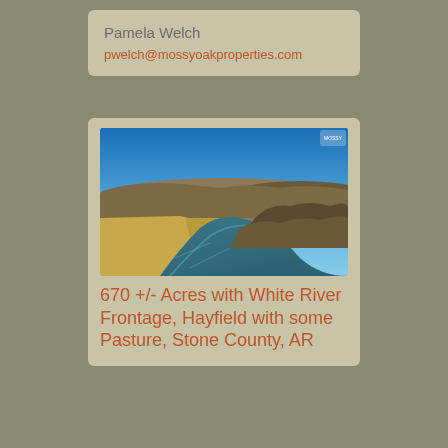Pamela Welch
pwelch@mossyoakproperties.com
[Figure (photo): Aerial drone photo of a river winding through golden hayfields and forested hills under a clear blue sky in Stone County, AR]
670 +/- Acres with White River Frontage, Hayfield with some Pasture, Stone County, AR